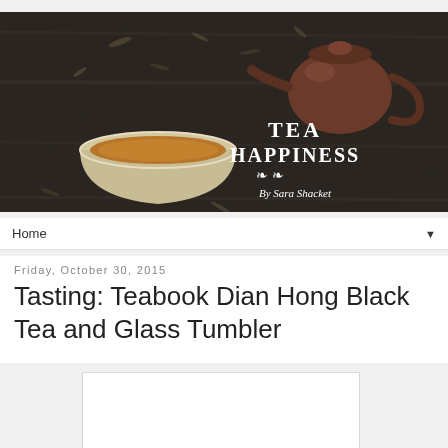[Figure (photo): Tea Happiness blog header banner: dark wooden table with a ceramic bowl of brewed tea, scattered loose tea leaves, a small brown ceramic teapot, and white text overlay reading 'TEA HAPPINESS By Sara Shacket' with decorative floral motifs]
Home ▼
Friday, October 30, 2015
Tasting: Teabook Dian Hong Black Tea and Glass Tumbler
[Figure (photo): Partially visible photo below the title, appears to be a product or tea image]